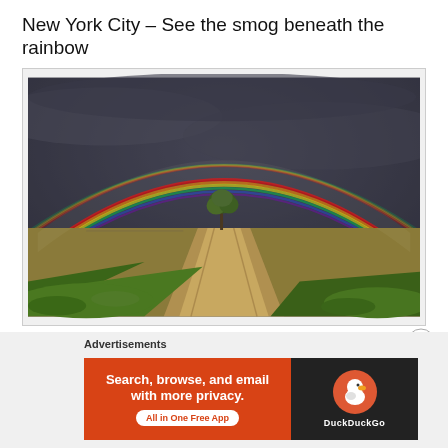New York City – See the smog beneath the rainbow
[Figure (photo): A dramatic landscape photo showing a full double rainbow arching over a flat agricultural field with a dirt path leading to a lone tree on the horizon, under a dark stormy sky. Green grass in the foreground, golden wheat fields on both sides.]
Advertisements
[Figure (infographic): DuckDuckGo advertisement banner. Left side orange/red background with white bold text: 'Search, browse, and email with more privacy.' with a white rounded button 'All in One Free App'. Right side dark background with DuckDuckGo duck logo and 'DuckDuckGo' text in white.]